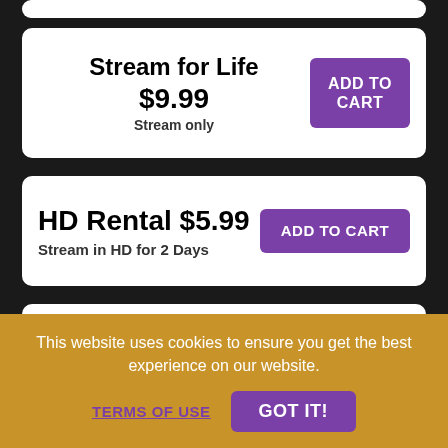Stream for Life $9.99 Stream only
ADD TO CART
HD Rental $5.99 Stream in HD for 2 Days
ADD TO CART
DVD $23.99 In Stock
ADD TO CART Free Shipping
This website uses cookies to ensure you get the best experience on our website.
TERMS OF USE
GOT IT!